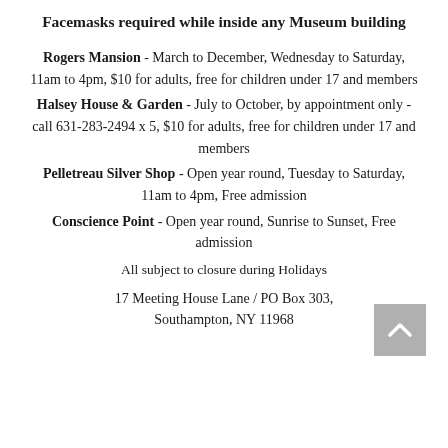Facemasks required while inside any Museum building
Rogers Mansion - March to December, Wednesday to Saturday, 11am to 4pm, $10 for adults, free for children under 17 and members
Halsey House & Garden - July to October, by appointment only - call 631-283-2494 x 5, $10 for adults, free for children under 17 and members
Pelletreau Silver Shop - Open year round, Tuesday to Saturday, 11am to 4pm, Free admission
Conscience Point - Open year round, Sunrise to Sunset, Free admission
All subject to closure during Holidays
17 Meeting House Lane / PO Box 303, Southampton, NY 11968